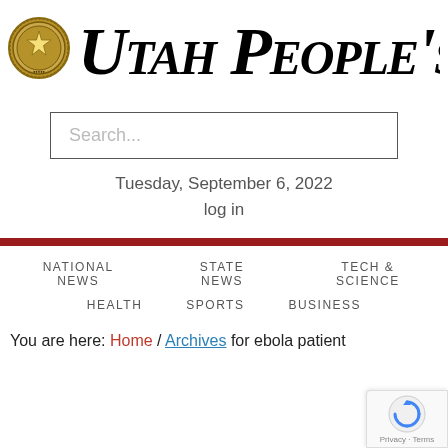[Figure (logo): Utah state seal circular logo with gold/brown coloring, star in center]
Utah People's Post
[Figure (screenshot): Search input box with placeholder text 'Search...']
Tuesday, September 6, 2022
log in
NATIONAL NEWS   STATE NEWS   TECH & SCIENCE   HEALTH   SPORTS   BUSINESS
You are here: Home / Archives for ebola patient
[Figure (logo): Google reCAPTCHA badge with circular arrow icon and 'Privacy - Terms' text]